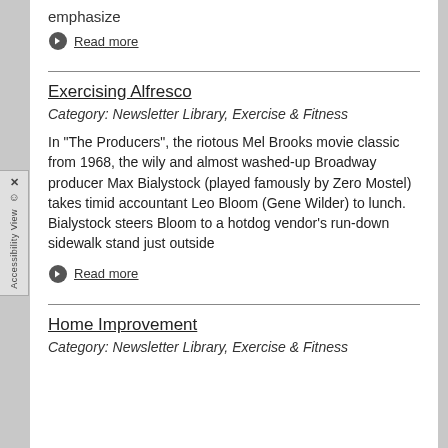emphasize
Read more
Exercising Alfresco
Category: Newsletter Library, Exercise & Fitness
In "The Producers", the riotous Mel Brooks movie classic from 1968, the wily and almost washed-up Broadway producer Max Bialystock (played famously by Zero Mostel) takes timid accountant Leo Bloom (Gene Wilder) to lunch. Bialystock steers Bloom to a hotdog vendor's run-down sidewalk stand just outside
Read more
Home Improvement
Category: Newsletter Library, Exercise & Fitness